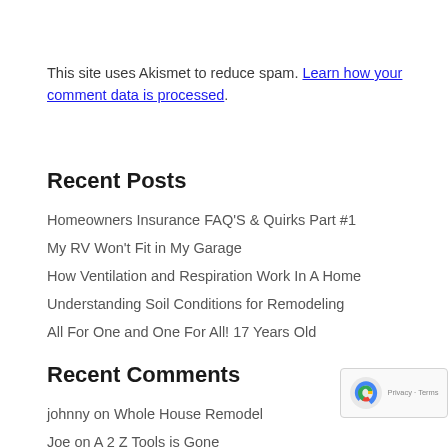This site uses Akismet to reduce spam. Learn how your comment data is processed.
Recent Posts
Homeowners Insurance FAQ'S & Quirks Part #1
My RV Won't Fit in My Garage
How Ventilation and Respiration Work In A Home
Understanding Soil Conditions for Remodeling
All For One and One For All! 17 Years Old
Recent Comments
johnny on Whole House Remodel
Joe on A 2 Z Tools is Gone